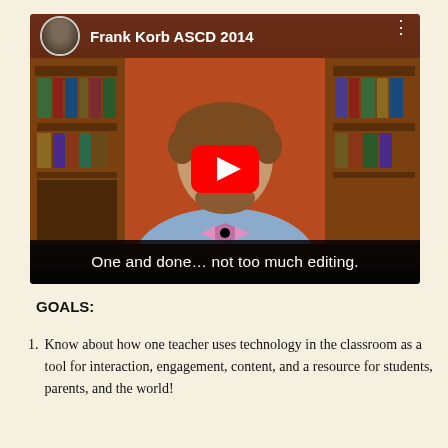[Figure (screenshot): YouTube video thumbnail showing a man with curly hair and a bow tie sitting in front of a bookshelf in a room with orange walls. The video title overlay reads 'Frank Korb ASCD 2014' with a profile avatar. A large red YouTube play button is centered on the image. A black caption bar at the bottom reads 'One and done… not too much editing.']
GOALS:
Know about how one teacher uses technology in the classroom as a tool for interaction, engagement, content, and a resource for students, parents, and the world!